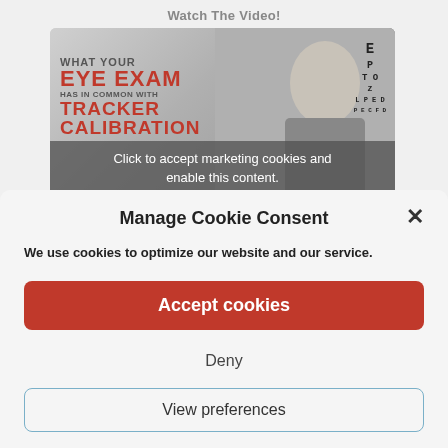Watch The Video!
[Figure (screenshot): Video thumbnail showing eye exam / tracker calibration topic with a young man holding glasses in front of an optometry phoropter machine and an eye chart. Overlay text reads 'Click to accept marketing cookies and enable this content.']
Manage Cookie Consent
We use cookies to optimize our website and our service.
Accept cookies
Deny
View preferences